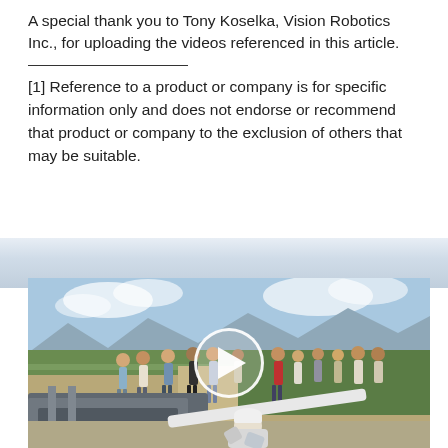A special thank you to Tony Koselka, Vision Robotics Inc., for uploading the videos referenced in this article.
[1] Reference to a product or company is for specific information only and does not endorse or recommend that product or company to the exclusion of others that may be suitable.
[Figure (photo): Outdoor field demonstration scene with a group of people standing around agricultural machinery equipment on a dusty path, with green fields and mountains in the background. In the foreground, a person wearing a white cap crouches near farm equipment. A video play button overlay is visible in the center of the image.]